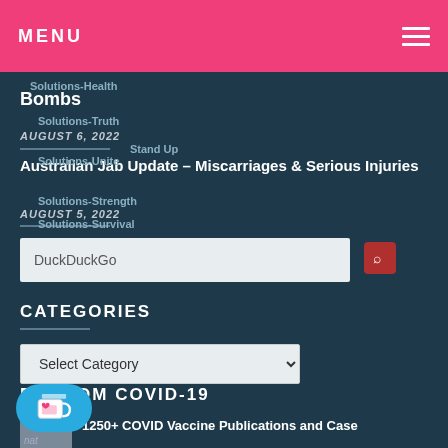MENU
Solutions-Health
Bombs
Solutions-Truth
AUGUST 6, 2022
Stand Up
Solutions-Unite
Australian Jab Update – Miscarriages & Serious Injuries
Solutions-Strength
AUGUST 5, 2022
Solutions-Survival
DuckDuckGo
CATEGORIES
Select Category
RANDOM COVID-19
1250+ COVID Vaccine Publications and Case